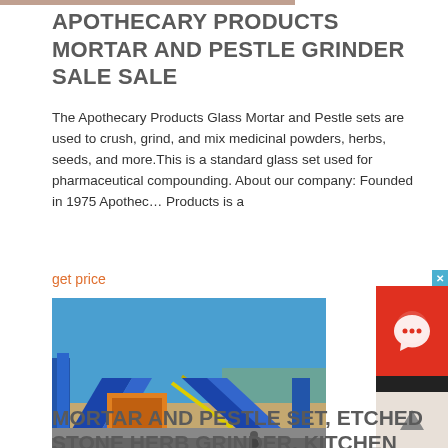APOTHECARY PRODUCTS MORTAR AND PESTLE GRINDER SALE SALE
The Apothecary Products Glass Mortar and Pestle sets are used to crush, grind, and mix medicinal powders, herbs, seeds, and more.This is a standard glass set used for pharmaceutical compounding. About our company: Founded in 1975 Apothecary Products is a
get price
[Figure (photo): Outdoor industrial conveyor belt and sorting facility with blue metal framework, orange machinery, and clear blue sky. Date stamp 10/25/2013.]
MORTAR AND PESTLE SET, ETCHED STONE HERB GRINDER, KITCHEN